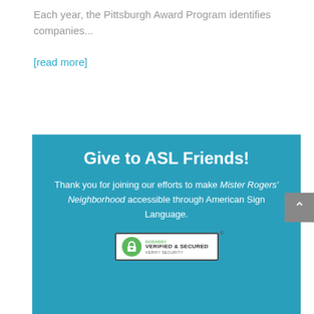Each year, the Pittsburgh Award Program identifies companies...
[read more]
Give to ASL Friends!
Thank you for joining our efforts to make Mister Rogers' Neighborhood accessible through American Sign Language.
[Figure (logo): GoDaddy Verified & Secured badge with lock icon]